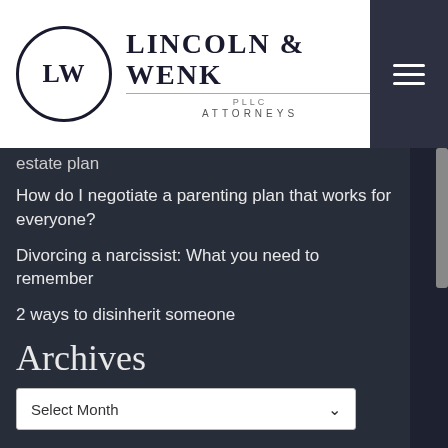[Figure (logo): Lincoln & Wenk PLLC Attorneys logo with circular LW emblem and firm name]
estate plan
How do I negotiate a parenting plan that works for everyone?
Divorcing a narcissist: What you need to remember
2 ways to disinherit someone
Archives
Select Month
RSS Feed
Subscribe To This Blog's Feed